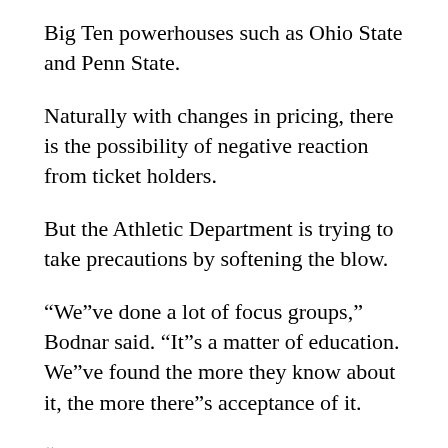Big Ten powerhouses such as Ohio State and Penn State.
Naturally with changes in pricing, there is the possibility of negative reaction from ticket holders.
But the Athletic Department is trying to take precautions by softening the blow.
“We”ve done a lot of focus groups,” Bodnar said. “It”s a matter of education. We”ve found the more they know about it, the more there”s acceptance of it.
“Fans appreciate knowing what”s going on and where we”re at,” he said.